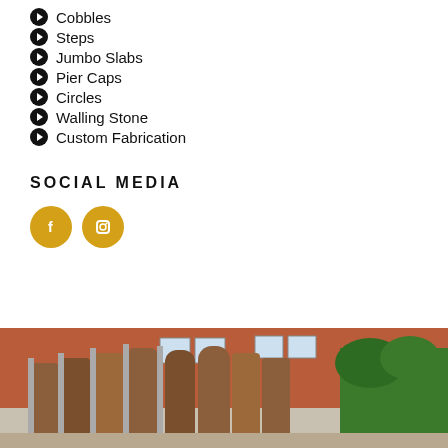Cobbles
Steps
Jumbo Slabs
Pier Caps
Circles
Walling Stone
Custom Fabrication
SOCIAL MEDIA
[Figure (other): Social media icons: Facebook (f) and Instagram (camera) as golden circles]
[Figure (photo): Outdoor photo of wooden fence panels and brick houses]